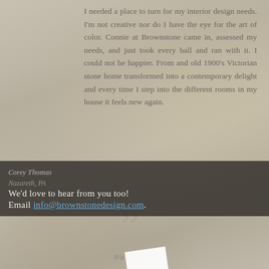I needed a place to turn for my interior design needs. I'm not creative nor do I have the eye for the art of color. Connie at Brownstone came in, assessed my needs, and just took every ball and ran with it. I could not be happier. From and old 1900's Victorian stone home transformed into a contemporary delight and every time I step into the different rooms in my house it feels new again.
[Figure (illustration): Large decorative closing quotation mark in light gray, semi-transparent, overlaid on stone texture background with a small white rectangle accent]
Corey Thomas
Nazareth, PA
We'd love to hear from you too!
Email info@brownstonedesign.com.
8/a